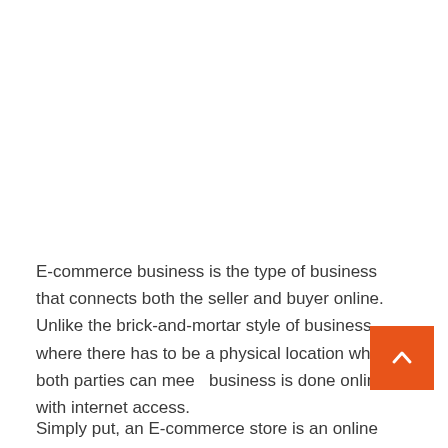E-commerce business is the type of business that connects both the seller and buyer online. Unlike the brick-and-mortar style of business, where there has to be a physical location where both parties can meet, business is done online with internet access.
Simply put, an E-commerce store is an online shop